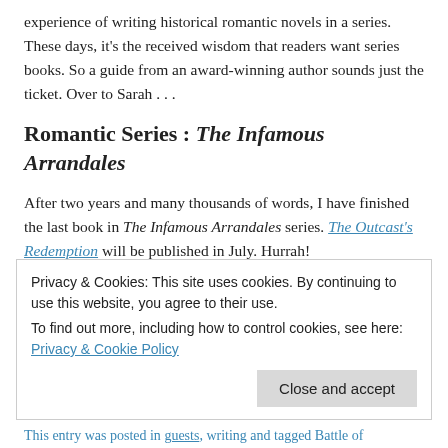experience of writing historical romantic novels in a series. These days, it's the received wisdom that readers want series books. So a guide from an award-winning author sounds just the ticket. Over to Sarah . . .
Romantic Series : The Infamous Arrandales
After two years and many thousands of words, I have finished the last book in The Infamous Arrandales series. The Outcast's Redemption will be published in July. Hurrah!
Continue reading →
Privacy & Cookies: This site uses cookies. By continuing to use this website, you agree to their use.
To find out more, including how to control cookies, see here: Privacy & Cookie Policy
This entry was posted in guests, writing and tagged Battle of